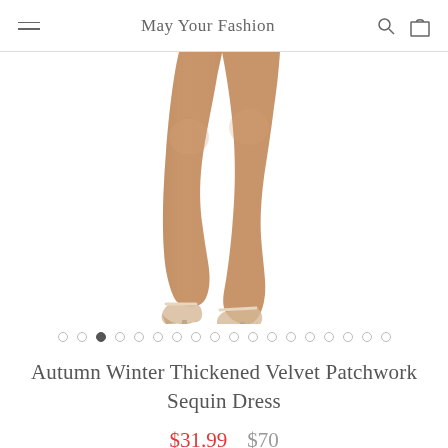May Your Fashion
[Figure (photo): Lower legs and feet of a female model wearing clear heeled sandals against a white background. The image shows from thigh-down, cropped at the top.]
● ○ ○ ○ ○ ○ ○ ○ ○ ○ ○ ○ ○ ○ ○ ○ ○ ○ (image carousel dots, third dot active)
Autumn Winter Thickened Velvet Patchwork Sequin Dress
$31.99  $70